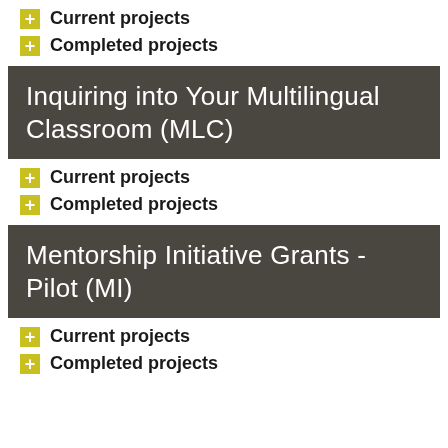Current projects
Completed projects
Inquiring into Your Multilingual Classroom (MLC)
Current projects
Completed projects
Mentorship Initiative Grants - Pilot (MI)
Current projects
Completed projects